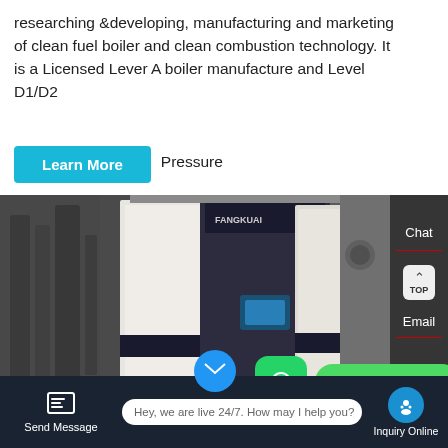researching &developing, manufacturing and marketing of clean fuel boiler and clean combustion technology. It is a Licensed Lever A boiler manufacture and Level D1/D2 Pressure
Learn More
[Figure (photo): Industrial boiler equipment - FANGKUAI branded clean fuel boilers in a manufacturing facility. Two large cream/beige colored boiler units visible with black branding panels.]
Chat
TOP
Email
Contact us now!
Send Message
Hey, we are live 24/7. How may I help you?
Inquiry Online